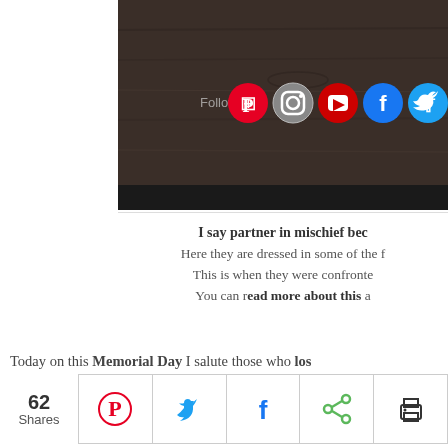[Figure (screenshot): Top portion of a webpage showing a dark wood background image with social media follow icons (Pinterest, Instagram, YouTube, Facebook, Twitter) overlaid]
I say partner in mischief bec
Here they are dressed in some of the f
This is when they were confronte
You can read more about this a
Today on this Memorial Day I salute those who los gave of their time and lost to some extent in many now!
[Figure (infographic): Share bar showing 62 Shares with Pinterest, Twitter, Facebook, share, and print icons]